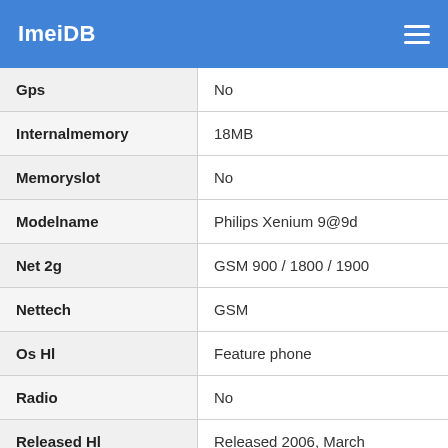ImeiDB
| Property | Value |
| --- | --- |
| Gps | No |
| Internalmemory | 18MB |
| Memoryslot | No |
| Modelname | Philips Xenium 9@9d |
| Net 2g | GSM 900 / 1800 / 1900 |
| Nettech | GSM |
| Os Hl | Feature phone |
| Radio | No |
| Released Hl | Released 2006, March |
| Sensors |  |